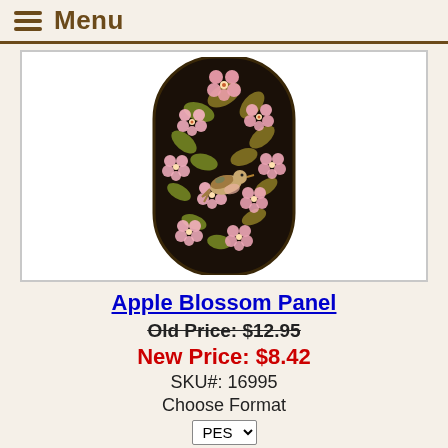Menu
[Figure (photo): Oval decorative panel with black background featuring pink apple blossom flowers, golden-green leaves, and a small bird perched among the blossoms — Russian folk art style lacquer panel.]
Apple Blossom Panel
Old Price: $12.95
New Price: $8.42
SKU#: 16995
Choose Format
PES
Old Price: $12.95
New Price: $8.42
SKU#: 16995
Choose Format
PES